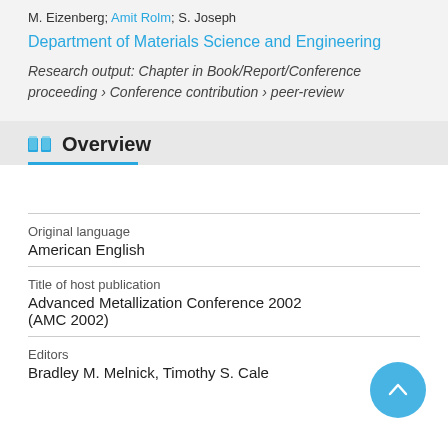M. Eizenberg; Amit Rolm; S. Joseph
Department of Materials Science and Engineering
Research output: Chapter in Book/Report/Conference proceeding › Conference contribution › peer-review
Overview
| Field | Value |
| --- | --- |
| Original language | American English |
| Title of host publication | Advanced Metallization Conference 2002 (AMC 2002) |
| Editors | Bradley M. Melnick, Timothy S. Cale |